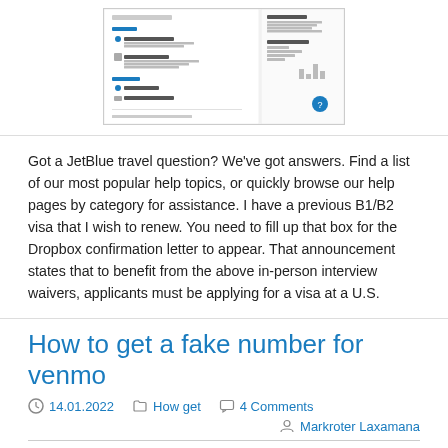[Figure (screenshot): A screenshot of a web interface showing navigation panels with items like Animation Course, Payment Forms, Analytics, Web API sections, and a Web API Requests panel on the right side.]
Got a JetBlue travel question? We've got answers. Find a list of our most popular help topics, or quickly browse our help pages by category for assistance. I have a previous B1/B2 visa that I wish to renew. You need to fill up that box for the Dropbox confirmation letter to appear. That announcement states that to benefit from the above in-person interview waivers, applicants must be applying for a visa at a U.S.
How to get a fake number for venmo
14.01.2022   How get   4 Comments   Markroter Laxamana
[Figure (photo): A photo of a smartphone held in hand with a blue screen visible, showing what appears to be a Venmo or similar app interface.]